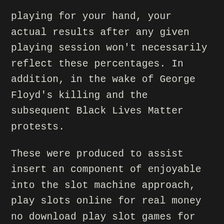playing for your hand, your actual results after any given playing session won't necessarily reflect these percentages. In addition, in the wake of George Floyd's killing and the subsequent Black Lives Matter protests.
These were produced to assist insert an component of enjoyable into the slot machine approach, play slots online for real money no download play slot games for real money live casino games for the